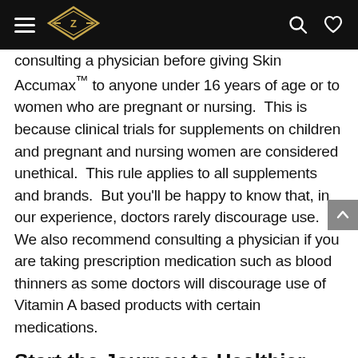Z logo header with hamburger menu, search and heart icons
consulting a physician before giving Skin Accumax™ to anyone under 16 years of age or to women who are pregnant or nursing.  This is because clinical trials for supplements on children and pregnant and nursing women are considered unethical.  This rule applies to all supplements and brands.  But you'll be happy to know that, in our experience, doctors rarely discourage use.  We also recommend consulting a physician if you are taking prescription medication such as blood thinners as some doctors will discourage use of Vitamin A based products with certain medications.
Start the Journey to Healthier Skin